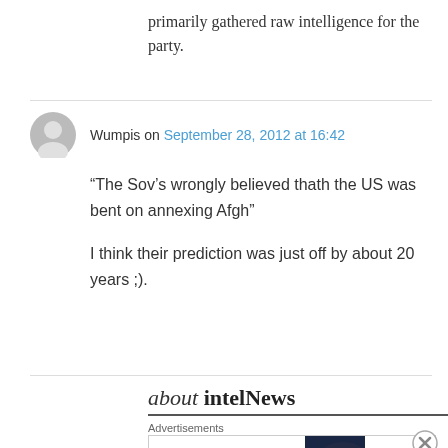primarily gathered raw intelligence for the party.
Wumpis on September 28, 2012 at 16:42

“The Sov’s wrongly believed thath the US was bent on annexing Afgh”

I think their prediction was just off by about 20 years ;).
about intelNews
Advertisements
[Figure (other): Bloomingdale's advertisement banner with text 'View Today's Top Deals!' and a 'SHOP NOW >' button, featuring an image of a woman with a hat.]